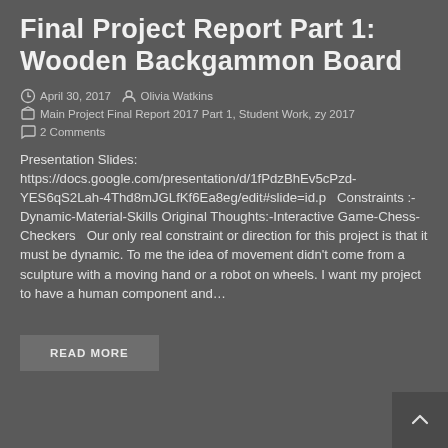Final Project Report Part 1: Wooden Backgammon Board
April 30, 2017   Olivia Watkins
Main Project Final Report 2017 Part 1, Student Work, zy 2017
2 Comments
Presentation Slides: https://docs.google.com/presentation/d/1fPdzBhEv5cPzd-YES6qS2Lah-4Thd8mJGLfKf6Ea8eg/edit#slide=id.p   Constraints :- Dynamic-Material-Skills Original Thoughts:-Interactive Game-Chess-Checkers   Our only real constraint or direction for this project is that it must be dynamic. To me the idea of movement didn't come from a sculpture with a moving hand or a robot on wheels. I want my project to have a human component and…
READ MORE